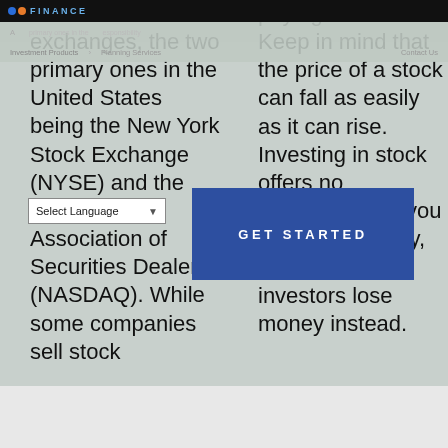FINANCE
exchanges, the two primary ones in the United States being the New York Stock Exchange (NYSE) and the National Association of Securities Dealers (NASDAQ). While some companies sell stock
paying stocks. Keep in mind that the price of a stock can fall as easily as it can rise. Investing in stock offers no guarantee that you will make money, and many investors lose money instead.
[Figure (screenshot): GET STARTED blue call-to-action button overlay]
Select Language